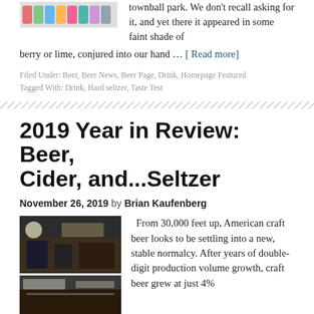[Figure (photo): Row of colorful cans/bottles at top of page]
townball park. We don't recall asking for it, and yet there it appeared in some faint shade of berry or lime, conjured into our hand … [ Read more]
Filed Under: Beer, Beer News, Beer Page, Drink, Homepage Featured
Tagged With: Drink, Hard seltzer, Taste Test
2019 Year in Review: Beer, Cider, and...Seltzer
November 26, 2019 by Brian Kaufenberg
[Figure (photo): Two photos of a bar/brewery interior]
From 30,000 feet up, American craft beer looks to be settling into a new, stable normalcy. After years of double-digit production volume growth, craft beer grew at just 4%